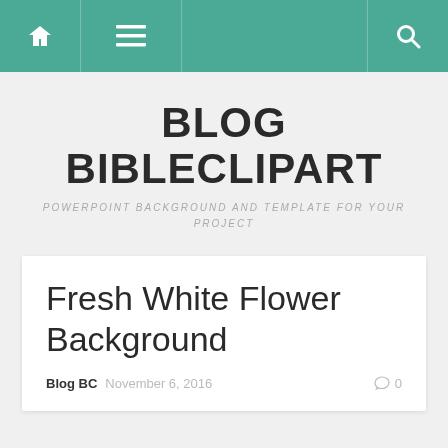Navigation bar with home, menu, and search icons
BLOG BIBLECLIPART
POWERPOINT BACKGROUND AND TEMPLATE FOR YOUR PROJECT
Fresh White Flower Background
Blog BC  November 6, 2016  0